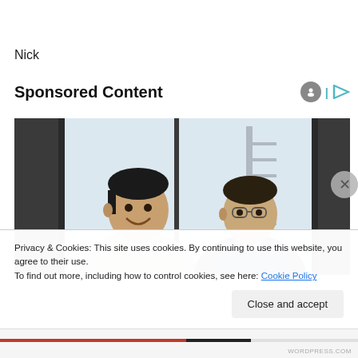Nick
Sponsored Content
[Figure (photo): Two men in business attire smiling, standing near large windows in an office setting]
Privacy & Cookies: This site uses cookies. By continuing to use this website, you agree to their use.
To find out more, including how to control cookies, see here: Cookie Policy
Close and accept